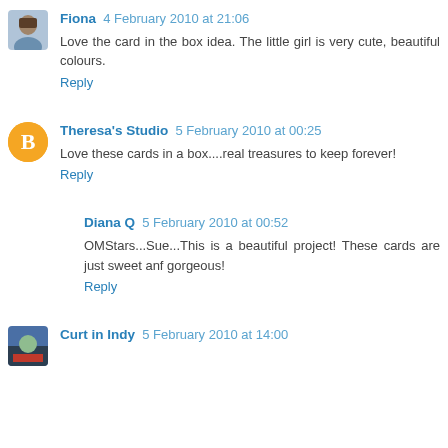Fiona 4 February 2010 at 21:06
Love the card in the box idea. The little girl is very cute, beautiful colours.
Reply
Theresa's Studio 5 February 2010 at 00:25
Love these cards in a box....real treasures to keep forever!
Reply
Diana Q 5 February 2010 at 00:52
OMStars...Sue...This is a beautiful project! These cards are just sweet anf gorgeous!
Reply
Curt in Indy 5 February 2010 at 14:00